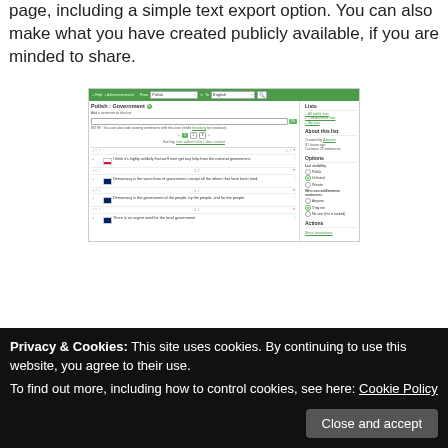page, including a simple text export option. You can also make what you have created publicly available, if you are minded to share.
[Figure (screenshot): Screenshot of Tatoeba website showing a Polish:Government sentence list page with search interface, sentences about government, and options panel on the right side including Lists, About this list, Options (visibility: public/unlisted/private), and Actions sections.]
Privacy & Cookies: This site uses cookies. By continuing to use this website, you agree to their use.
To find out more, including how to control cookies, see here: Cookie Policy